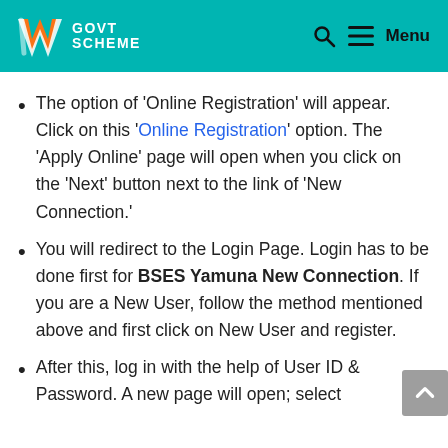GOVT SCHEME
The option of 'Online Registration' will appear. Click on this 'Online Registration' option. The 'Apply Online' page will open when you click on the 'Next' button next to the link of 'New Connection.'
You will redirect to the Login Page. Login has to be done first for BSES Yamuna New Connection. If you are a New User, follow the method mentioned above and first click on New User and register.
After this, log in with the help of User ID & Password. A new page will open; select